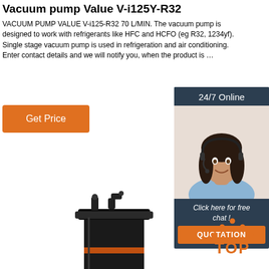Vacuum pump Value V-i125Y-R32
VACUUM PUMP VALUE V-i125-R32 70 L/MIN. The vacuum pump is designed to work with refrigerants like HFC and HCFO (eg R32, 1234yf). Single stage vacuum pump is used in refrigeration and air conditioning. Enter contact details and we will notify you, when the product is …
[Figure (other): Orange 'Get Price' button]
[Figure (other): 24/7 Online customer support sidebar with agent photo, 'Click here for free chat!' text and orange QUOTATION button]
[Figure (photo): Black vacuum pump Value V-i125Y-R32, cylindrical shape with fittings on top]
[Figure (other): Orange TOP button with dots arranged in triangle pattern above the text]